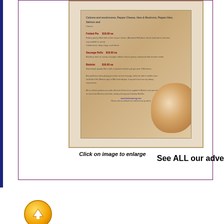[Figure (photo): A food menu image showing chicken/pastry items with pricing text, displayed within a decorative bordered frame]
Click on image to enlarge
See ALL our adve
ccn@cresc
[Figure (other): Gold/yellow circular arrow up button icon]
The CCN Date Claimer